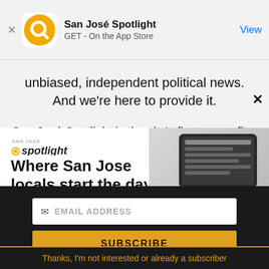San José Spotlight — GET - On the App Store — View
unbiased, independent political news. And we're here to provide it.
San José Spotlight is the city's first nonprofit,
[Figure (advertisement): San José Spotlight ad banner showing logo, tagline 'Where San Jose locals start the day.' and website sanjosespotlight.com with tablet/coffee image]
EMAIL ADDRESS
SUBSCRIBE
Thanks, I'm not interested or already a subscriber